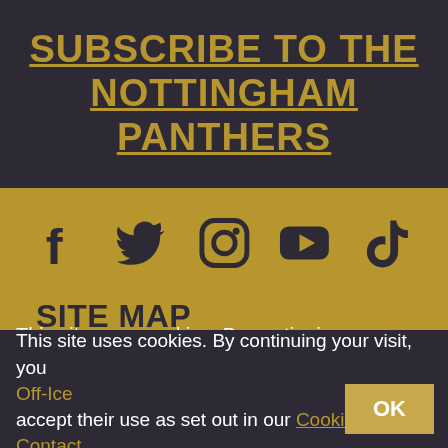SUBSCRIBE TO THE NOTTINGHAM PANTHERS
[Figure (infographic): Social media icons: Facebook, Twitter, Instagram, YouTube, TikTok]
SITE MAP
Home
News
Fixtures
On-Ice
Off-Ice
Contact
This site uses cookies. By continuing your visit, you accept their use as set out in our Cookie Policy.